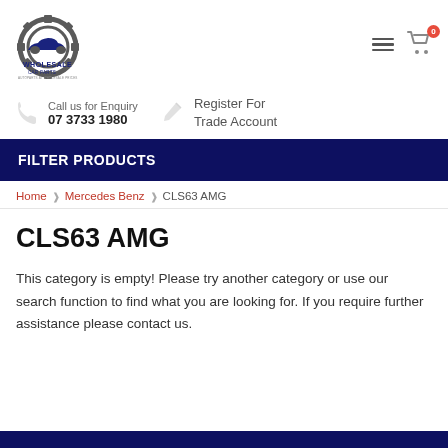[Figure (logo): Wholesale Car Parts logo — gear icon with car silhouette and text 'WHOLESALE CAR PARTS · AUTOPARTS AT WHOLESALE PRICES']
Call us for Enquiry
07 3733 1980
Register For Trade Account
FILTER PRODUCTS
Home  ❯  Mercedes Benz  ❯  CLS63 AMG
CLS63 AMG
This category is empty! Please try another category or use our search function to find what you are looking for. If you require further assistance please contact us.